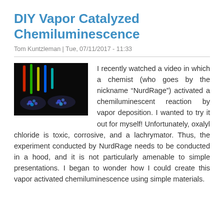DIY Vapor Catalyzed Chemiluminescence
Tom Kuntzleman | Tue, 07/11/2017 - 11:33
[Figure (photo): Photograph of chemiluminescent glow sticks and glowing discs in various colors (red, green, yellow, blue) in a dark setting.]
I recently watched a video in which a chemist (who goes by the nickname “NurdRage”) activated a chemiluminescent reaction by vapor deposition. I wanted to try it out for myself! Unfortunately, oxalyl chloride is toxic, corrosive, and a lachrymator. Thus, the experiment conducted by NurdRage needs to be conducted in a hood, and it is not particularly amenable to simple presentations. I began to wonder how I could create this vapor activated chemiluminescence using simple materials.